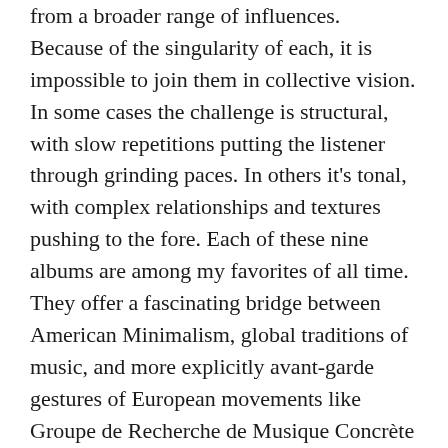from a broader range of influences. Because of the singularity of each, it is impossible to join them in collective vision. In some cases the challenge is structural, with slow repetitions putting the listener through grinding paces. In others it's tonal, with complex relationships and textures pushing to the fore. Each of these nine albums are among my favorites of all time. They offer a fascinating bridge between American Minimalism, global traditions of music, and more explicitly avant-garde gestures of European movements like Groupe de Recherche de Musique Concrète and Groupe de Recherches Musicales. I hope they will offer some insight into a wonderful and often neglected period of Italian music and send you scrabbling to the bins.